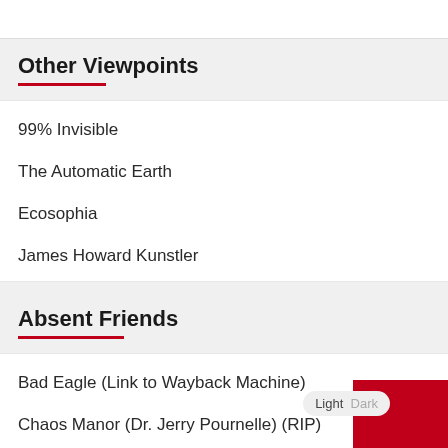Other Viewpoints
99% Invisible
The Automatic Earth
Ecosophia
James Howard Kunstler
Absent Friends
Bad Eagle (Link to Wayback Machine)
Chaos Manor (Dr. Jerry Pournelle) (RIP)
Freedomsight (On hiatus)